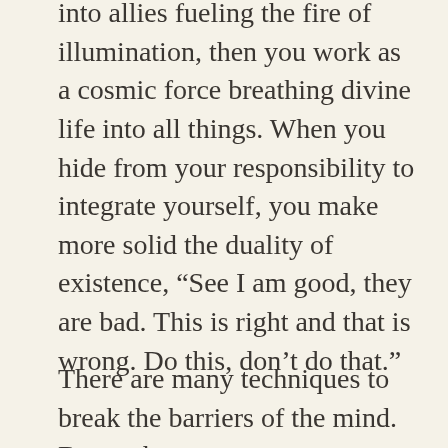into allies fueling the fire of illumination, then you work as a cosmic force breathing divine life into all things. When you hide from your responsibility to integrate yourself, you make more solid the duality of existence, “See I am good, they are bad. This is right and that is wrong. Do this, don't do that.”
There are many techniques to break the barriers of the mind. But such